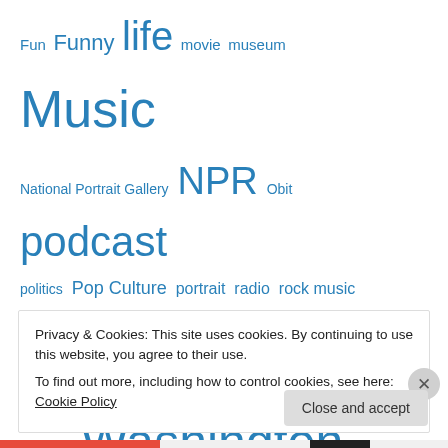Fun  Funny  life  movie  museum  Music  National Portrait Gallery  NPR  Obit  podcast  politics  Pop Culture  portrait  radio  rock music  Smithsonian  technology  television  tourism  Vermont  Washington DC  Washington Post
Privacy & Cookies: This site uses cookies. By continuing to use this website, you agree to their use.
To find out more, including how to control cookies, see here: Cookie Policy
Close and accept